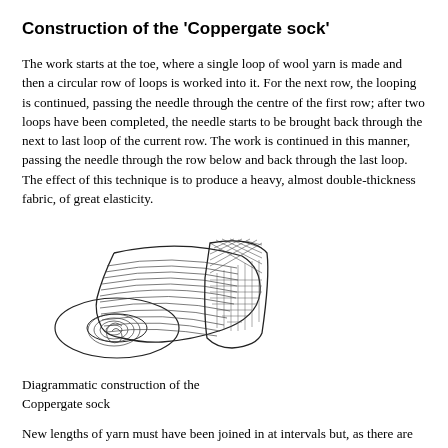Construction of the 'Coppergate sock'
The work starts at the toe, where a single loop of wool yarn is made and then a circular row of loops is worked into it. For the next row, the looping is continued, passing the needle through the centre of the first row; after two loops have been completed, the needle starts to be brought back through the next to last loop of the current row. The work is continued in this manner, passing the needle through the row below and back through the last loop. The effect of this technique is to produce a heavy, almost double-thickness fabric, of great elasticity.
[Figure (illustration): Diagrammatic illustration of the Coppergate sock construction, showing a knitted sock viewed from the side with circular loop rows visible along the body and a heel/toe section with cross-hatched texture.]
Diagrammatic construction of the
Coppergate sock
New lengths of yarn must have been joined in at intervals but, as there are no loose ends visible, they must either have been joined